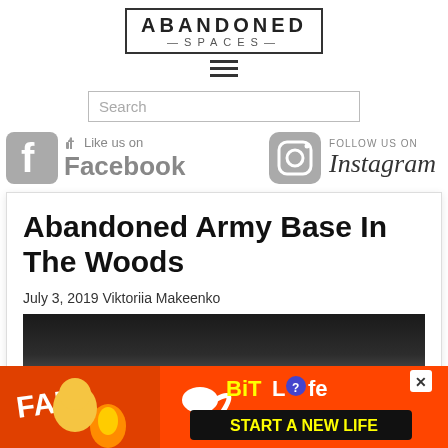ABANDONED SPACES
[Figure (logo): Abandoned Spaces logo in bordered box with hamburger menu icon below]
Search
[Figure (infographic): Like us on Facebook and Follow us on Instagram social media buttons with grayscale icons]
Abandoned Army Base In The Woods
July 3, 2019 Viktoriia Makeenko
[Figure (photo): Dark interior photo of abandoned army base]
[Figure (infographic): BitLife advertisement banner: FAIL character with flames, START A NEW LIFE text]